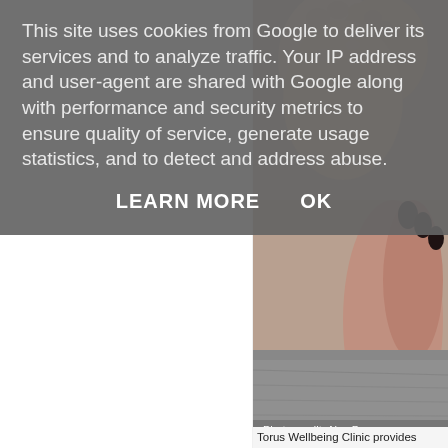This site uses cookies from Google to deliver its services and to analyze traffic. Your IP address and user-agent are shared with Google along with performance and security metrics to ensure quality of service, generate usage statistics, and to detect and address abuse.
LEARN MORE    OK
[Figure (photo): Close-up photo of baby feet being held by adult hands with dark nail polish, on a soft surface. Photo credit: Alex Pas]
Torus Wellbeing Clinic provides